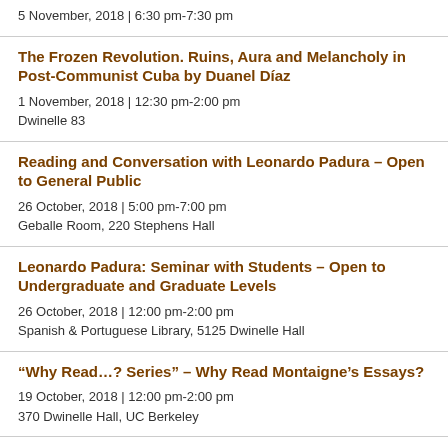5 November, 2018 | 6:30 pm-7:30 pm
The Frozen Revolution. Ruins, Aura and Melancholy in Post-Communist Cuba by Duanel Díaz
1 November, 2018 | 12:30 pm-2:00 pm
Dwinelle 83
Reading and Conversation with Leonardo Padura – Open to General Public
26 October, 2018 | 5:00 pm-7:00 pm
Geballe Room, 220 Stephens Hall
Leonardo Padura: Seminar with Students – Open to Undergraduate and Graduate Levels
26 October, 2018 | 12:00 pm-2:00 pm
Spanish & Portuguese Library, 5125 Dwinelle Hall
“Why Read…? Series” – Why Read Montaigne’s Essays?
19 October, 2018 | 12:00 pm-2:00 pm
370 Dwinelle Hall, UC Berkeley
Modernisms: intertextualities and dialogues with Contemporaneity